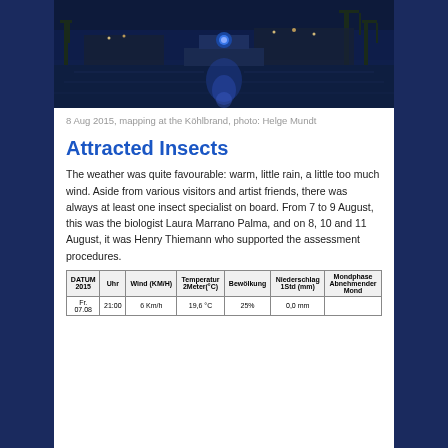[Figure (photo): Night photograph of a harbor/waterway with a illuminated vessel and port cranes visible in the background, blue light reflecting on the water.]
8 Aug 2015, mapping at the Köhlbrand, photo: Helge Mundt
Attracted Insects
The weather was quite favourable: warm, little rain, a little too much wind. Aside from various visitors and artist friends, there was always at least one insect specialist on board. From 7 to 9 August, this was the biologist Laura Marrano Palma, and on 8, 10 and 11 August, it was Henry Thiemann who supported the assessment procedures.
| DATUM 2015 | Uhr | Wind (KM/H) | Temperatur 2Meter(°C) | Bewölkung | Niederschlag 1Std (mm) | Mondphase Abnehmender Mond |
| --- | --- | --- | --- | --- | --- | --- |
| Fr. 07.08 | 21:00 | 6 Km/h | 19,6 °C | 25% | 0,0 mm |  |